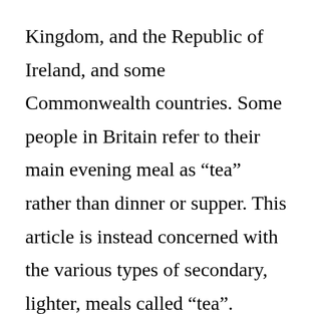Kingdom, and the Republic of Ireland, and some Commonwealth countries. Some people in Britain refer to their main evening meal as “tea” rather than dinner or supper. This article is instead concerned with the various types of secondary, lighter, meals called “tea”.
As a secondary meal, the timing of tea has moved over time in response to the moving later and later of the main dinner. Until the late 18th century dinner was eaten at what we